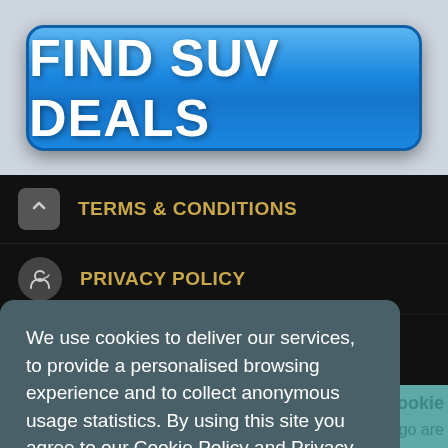FIND SUV DEALS
TERMS & CONDITIONS
PRIVACY POLICY
COOKIE POLICY
We use cookies to deliver our services, to provide a personalised browsing experience and to collect anonymous usage statistics. By using this site you agree to our Cookie Policy and Privacy Policy.  Learn more...
Got it!